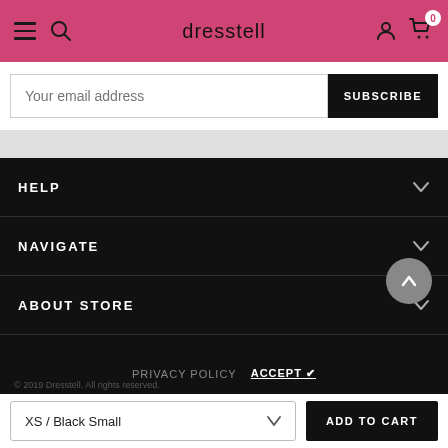dresstell
Your email address
SUBSCRIBE
HELP
NAVIGATE
ABOUT STORE
PRIVACY POLICY   ACCEPT ✔
© 2019 Dresstell. All rights reserved.
XS / Black Small
ADD TO CART